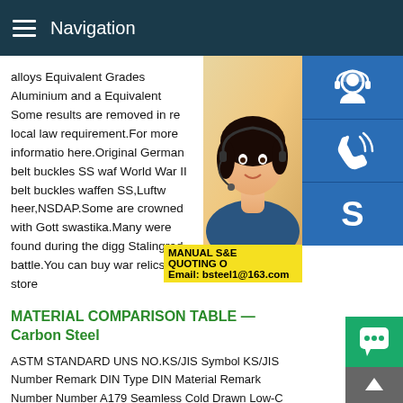Navigation
alloys Equivalent Grades Aluminium and a Equivalent Some results are removed in re local law requirement.For more informatio here.Original German belt buckles SS waf World War II belt buckles waffen SS,Luftw heer,NSDAP.Some are crowned with Gott swastika.Many were found during the digg Stalingrad battle.You can buy war relics in store
MATERIAL COMPARISON TABLE — Carbon Steel
ASTM STANDARD UNS NO.KS/JIS Symbol KS/JIS Number Remark DIN Type DIN Material Remark Number Number A179 Seamless Cold Drawn Low-C K01200 STBH340/STB35 D3563/G3461 St 35.4 1629 1.0309 Steel H/EX and Condensed